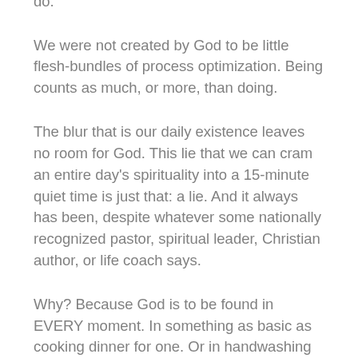ourselves about what we can and cannot do.
We were not created by God to be little flesh-bundles of process optimization. Being counts as much, or more, than doing.
The blur that is our daily existence leaves no room for God. This lie that we can cram an entire day's spirituality into a 15-minute quiet time is just that: a lie. And it always has been, despite whatever some nationally recognized pastor, spiritual leader, Christian author, or life coach says.
Why? Because God is to be found in EVERY moment. In something as basic as cooking dinner for one. Or in handwashing the dishes.
Julie, a friend and essayist in the vein of Annie